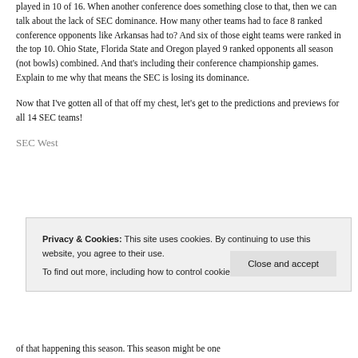played in 10 of 16. When another conference does something close to that, then we can talk about the lack of SEC dominance. How many other teams had to face 8 ranked conference opponents like Arkansas had to? And six of those eight teams were ranked in the top 10. Ohio State, Florida State and Oregon played 9 ranked opponents all season (not bowls) combined. And that's including their conference championship games. Explain to me why that means the SEC is losing its dominance.
Now that I've gotten all of that off my chest, let's get to the predictions and previews for all 14 SEC teams!
SEC West
Privacy & Cookies: This site uses cookies. By continuing to use this website, you agree to their use. To find out more, including how to control cookies, see here: Cookie Policy
of that happening this season. This season might be one